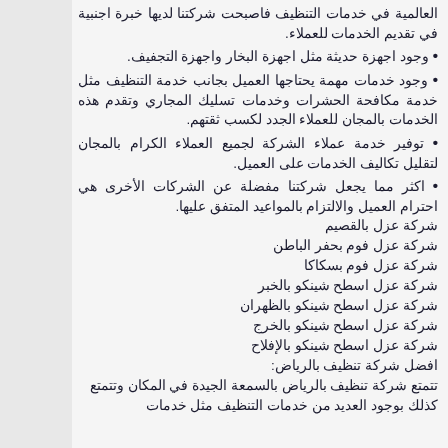العالمية في خدمات التنظيف فاصبحت شركتنا لديها خبرة اجنبية في تقديم الخدمات للعملاء.
• وجود اجهزة حديثة مثل اجهزة البخار واجهزة التجفيف.
• وجود خدمات مهمة يحتاجها العميل بجانب خدمة التنظيف مثل خدمة مكافحة الحشرات وخدمات تسليك المجاري وتقدم هذه الخدمات بالمجان للعملاء الجدد لكسب ثقتهم.
• توفير خدمة عملاء الشركة لجميع العملاء الكرام بالمجان لتقليل تكاليف الخدمات على العميل.
• اكثر مما يجعل شركتنا مفضلة عن الشركات الأخرى هي احترام العميل والالتزام بالمواعيد المتفق عليها.
شركة عزل بالقصيم
شركة عزل فوم بحفر الباطن
شركة عزل فوم بسكاكا
شركة عزل اسطح شينكو بالخبر
شركة عزل اسطح شينكو بالظهران
شركة عزل اسطح شينكو بالخرج
شركة عزل اسطح شينكو بالإفلاح
افضل شركة تنظيف بالرياض:
تتمتع شركة تنظيف بالرياض بالسمعة الجيدة في المكان وتتمتع كذلك بوجود العديد من خدمات التنظيف مثل خدمات